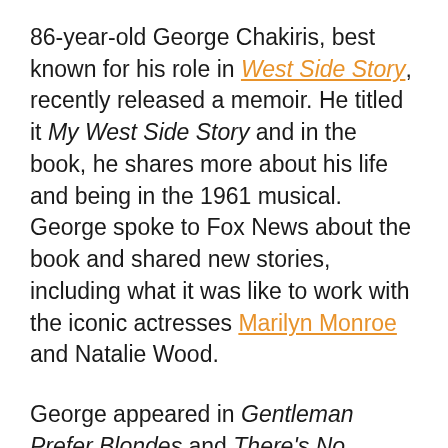86-year-old George Chakiris, best known for his role in West Side Story, recently released a memoir. He titled it My West Side Story and in the book, he shares more about his life and being in the 1961 musical. George spoke to Fox News about the book and shared new stories, including what it was like to work with the iconic actresses Marilyn Monroe and Natalie Wood.
George appeared in Gentleman Prefer Blondes and There's No Business Like Show Business with Marilyn in the mid-'50s. When asked what it was like to work with Marilyn, he said she was "very quiet." He admitted, "She seriously concentrated on her work and trained tirelessly to give her best